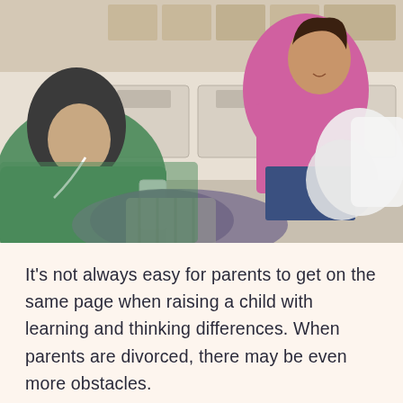[Figure (photo): A man in a green hoodie and black beanie hat holding a phone and laundry, talking to a woman in a pink sweater sitting on top of a washing machine in a laundromat, holding white laundry.]
It's not always easy for parents to get on the same page when raising a child with learning and thinking differences. When parents are divorced, there may be even more obstacles.